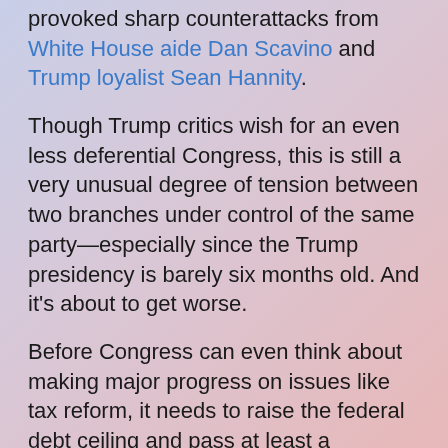provoked sharp counterattacks from White House aide Dan Scavino and Trump loyalist Sean Hannity.
Though Trump critics wish for an even less deferential Congress, this is still a very unusual degree of tension between two branches under control of the same party—especially since the Trump presidency is barely six months old. And it's about to get worse.
Before Congress can even think about making major progress on issues like tax reform, it needs to raise the federal debt ceiling and pass at least a temporary resolution funding the government past the end of the current fiscal year (September 30) while it works out a longer-term appropriations plan. Both tasks will require bipartisan agreement. Democratic support will be necessary in the Senate to avert a filibuster, and may well be needed in the House as well to compensate for what may be plentiful nay votes from the Republican side of the aisle on one or both measures.
There will be no "big wins" for Trump in the near future. The